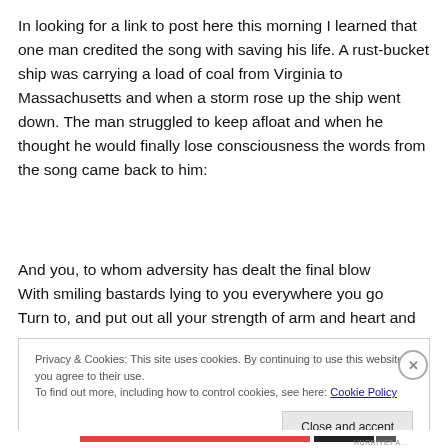In looking for a link to post here this morning I learned that one man credited the song with saving his life. A rust-bucket ship was carrying a load of coal from Virginia to Massachusetts and when a storm rose up the ship went down. The man struggled to keep afloat and when he thought he would finally lose consciousness the words from the song came back to him:
And you, to whom adversity has dealt the final blow
With smiling bastards lying to you everywhere you go
Turn to, and put out all your strength of arm and heart and
Privacy & Cookies: This site uses cookies. By continuing to use this website, you agree to their use.
To find out more, including how to control cookies, see here: Cookie Policy